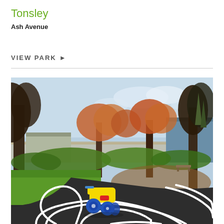Tonsley
Ash Avenue
VIEW PARK ▶
[Figure (photo): A children's playground area at Tonsley park featuring a colourful yellow and blue toy tricycle on a black asphalt path with white painted road markings. In the background are trees with reddish-orange foliage, green lawn, a fence line, and a building on the right side under a partly cloudy sky.]